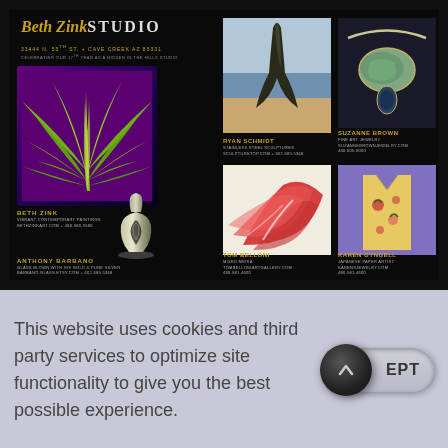[Figure (photo): Beth Zink Studio advertisement on black background featuring agave painting, glass art vase, beach sculpture, mixed media, jewelry, and paper art by multiple artists]
This website uses cookies and third party services to optimize site functionality to give you the best possible experience.
[Figure (other): Accept button - pill-shaped toggle with dark circle button showing upward chevron arrow, labeled ACCEPT]